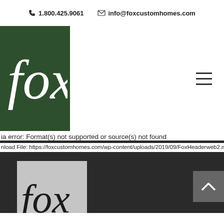1.800.425.9061   info@foxcustomhomes.com
[Figure (logo): Fox custom homes logo in dark green header box, white italic 'fox' text]
[Figure (illustration): Hamburger/menu icon (three horizontal lines) in white nav bar, top right]
ia error: Format(s) not supported or source(s) not found
nload File: https://foxcustomhomes.com/wp-content/uploads/2019/09/FoxHeaderweb2.m
[Figure (logo): Fox Custom Homes Inc. logo on grey background in dark area: italic 'fox' handwritten style with 'custom homes inc.' below in small caps]
[Figure (illustration): Scroll-to-top button (dark grey box with up caret chevron) bottom right]